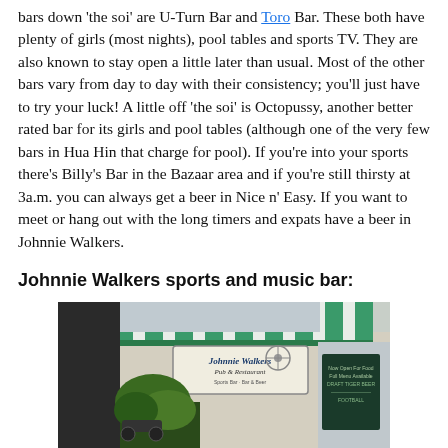bars down 'the soi' are U-Turn Bar and Toro Bar. These both have plenty of girls (most nights), pool tables and sports TV. They are also known to stay open a little later than usual. Most of the other bars vary from day to day with their consistency; you'll just have to try your luck! A little off 'the soi' is Octopussy, another better rated bar for its girls and pool tables (although one of the very few bars in Hua Hin that charge for pool). If you're into your sports there's Billy's Bar in the Bazaar area and if you're still thirsty at 3a.m. you can always get a beer in Nice n' Easy. If you want to meet or hang out with the long timers and expats have a beer in Johnnie Walkers.
Johnnie Walkers sports and music bar:
[Figure (photo): Photo of the exterior of Johnnie Walkers Pub & Restaurant in Hua Hin, showing a green and white striped awning, a sign reading 'Johnnie Walkers Pub & Restaurant', potted plants, a fan, and a chalkboard menu visible inside.]